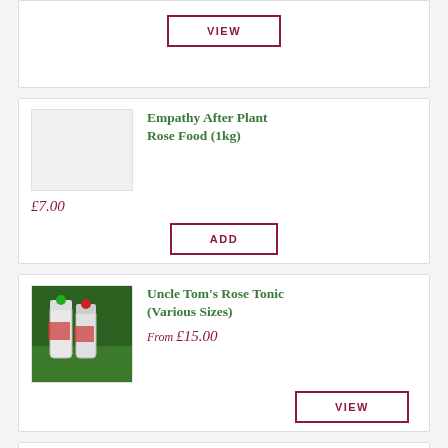[Figure (other): Top partial product card with a VIEW button, cut off at the top of the page]
Empathy After Plant Rose Food (1kg)
£7.00
ADD
[Figure (photo): Photo of Uncle Tom's Rose Tonic bottles on grass]
Uncle Tom's Rose Tonic (Various Sizes)
From £15.00
VIEW
Sulphur Rose (Various